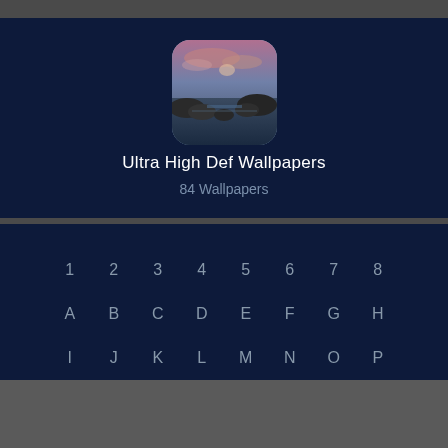[Figure (screenshot): App store listing screenshot showing Ultra High Def Wallpapers app with icon and alphabetical/numeric index grid]
Ultra High Def Wallpapers
84 Wallpapers
1 2 3 4 5 6 7 8 A B C D E F G H I J K L M N O P Q R S T U V W X Y Z